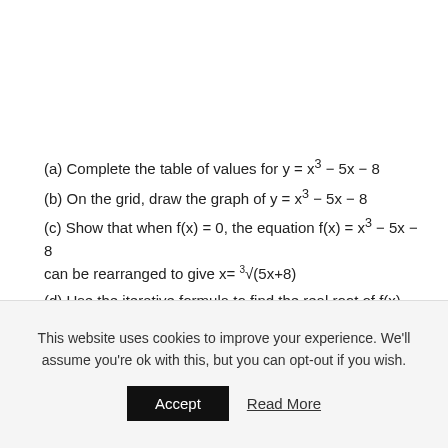(a) Complete the table of values for y = x³ − 5x − 8
(b) On the grid, draw the graph of y = x³ − 5x − 8
(c) Show that when f(x) = 0, the equation f(x) = x³ − 5x − 8 can be rearranged to give x= ∛(5x+8)
(d) Use the iterative formula to find the real root of f(x) correct to 3 decimal places.
This website uses cookies to improve your experience. We'll assume you're ok with this, but you can opt-out if you wish.